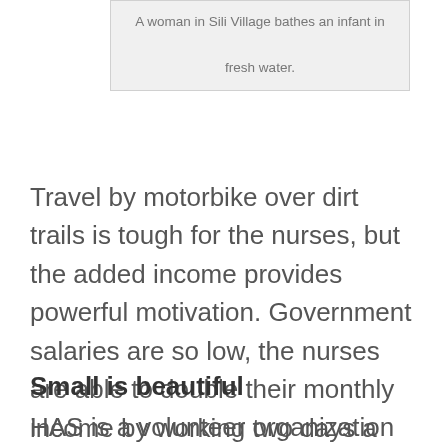A woman in Sili Village bathes an infant in fresh water.
Travel by motorbike over dirt trails is tough for the nurses, but the added income provides powerful motivation. Government salaries are so low, the nurses are able to double their monthly income by working two days a week for HAS.
Small is beautiful
HAS is a volunteer organization with no paid staff at